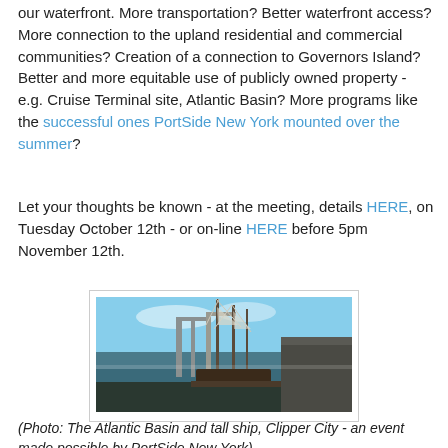our waterfront. More transportation? Better waterfront access? More connection to the upland residential and commercial communities? Creation of a connection to Governors Island? Better and more equitable use of publicly owned property - e.g. Cruise Terminal site, Atlantic Basin? More programs like the successful ones PortSide New York mounted over the summer?
Let your thoughts be known - at the meeting, details HERE, on Tuesday October 12th - or on-line HERE before 5pm November 12th.
[Figure (photo): A tall ship with masts docked at the Atlantic Basin waterfront, with industrial cranes in the background and a warehouse building on the right, under a blue sky.]
(Photo: The Atlantic Basin and tall ship, Clipper City - an event made possible by PortSide New York)